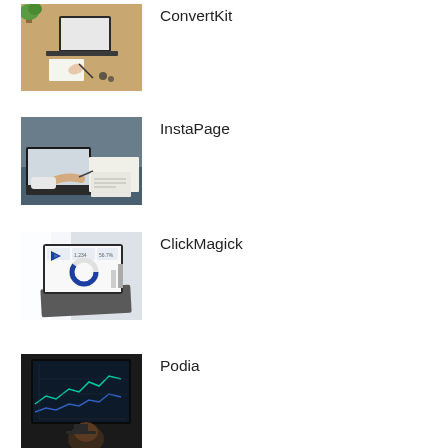[Figure (photo): Person writing at desk with laptop and plant]
ConvertKit
[Figure (photo): Person working with laptop and papers]
InstaPage
[Figure (photo): Laptop screen showing analytics dashboard]
ClickMagick
[Figure (photo): Person in front of monitor with charts]
Podia